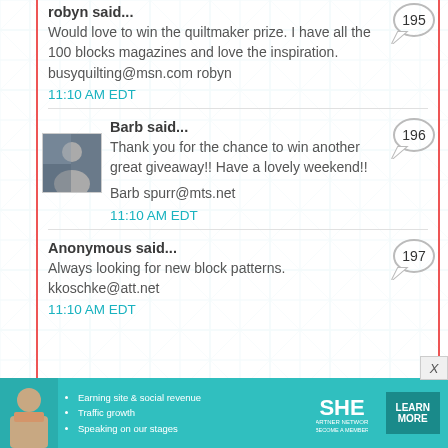robyn said... Would love to win the quiltmaker prize. I have all the 100 blocks magazines and love the inspiration. busyquilting@msn.com robyn
11:10 AM EDT
Barb said... Thank you for the chance to win another great giveaway!! Have a lovely weekend!! Barb spurr@mts.net
11:10 AM EDT
Anonymous said... Always looking for new block patterns. kkoschke@att.net
11:10 AM EDT
[Figure (infographic): SHE Partner Network advertisement banner with person photo, bullet points (Earning site & social revenue, Traffic growth, Speaking on our stages), SHE logo, PARTNER NETWORK, BECOME A MEMBER, and LEARN MORE button]